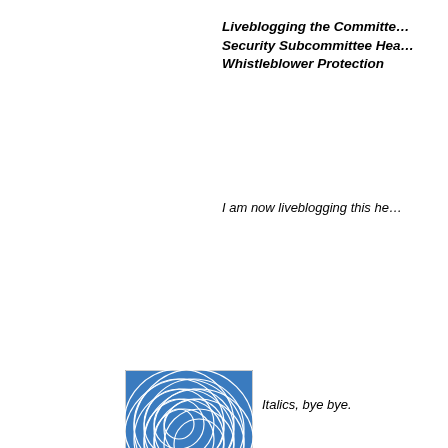Liveblogging the Committee… Security Subcommittee Hea… Whistleblower Protection
I am now liveblogging this he…
[Figure (illustration): Blue decorative avatar icon with circular spiral pattern]
Italics, bye bye.
[Figure (illustration): Blue decorative avatar icon with circular spiral pattern]
Another try.
[Figure (illustration): Blue decorative avatar icon with circular spiral pattern]
Please, pretty please, if you'r… PREVIEW to make sure they…
[Figure (illustration): Light purple/white decorative avatar icon with starburst pattern]
The latest: Cheney was drun… Because he can't prove he w…